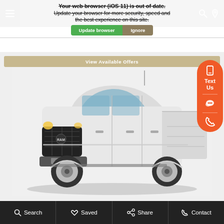Your web browser (iOS 11) is out of date. Update your browser for more security, speed and the best experience on this site.
Update browser · Ignore
View Available Offers
[Figure (photo): White Ram 1500 pickup truck (crew cab) shown from front 3/4 angle on light gray background]
Text Us
Search  Saved  Share  Contact